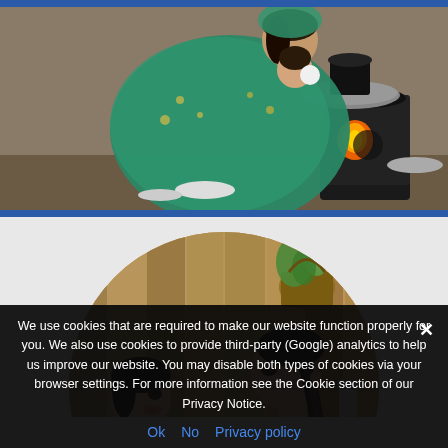[Figure (photo): Top portion showing a woman in a green/teal sari/shawl sitting near a black wood-burning stove with fire visible, cooking outdoors on a dirt floor. Blue bar at very top.]
[Figure (photo): Circular cropped photo of a woman with dark braided hair smiling at a young girl, both appearing happy, set against a wooden wall background with hanging plants.]
We use cookies that are required to make our website function properly for you. We also use cookies to provide third-party (Google) analytics to help us improve our website. You may disable both types of cookies via your browser settings. For more information see the Cookie section of our Privacy Notice.
Ok   No   Privacy policy